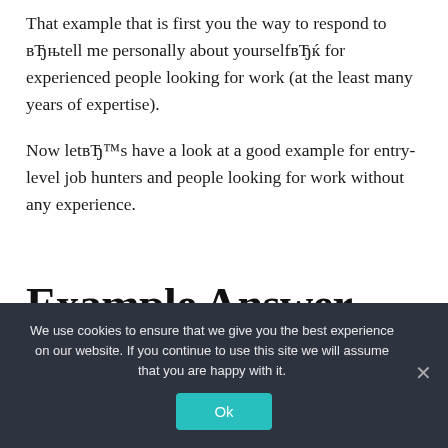That example that is first you the way to respond to вЂњtell me personally about yourselfвЂќ for experienced people looking for work (at the least many years of expertise).
Now letвЂ™s have a look at a good example for entry-level job hunters and people looking for work without any experience.
Example Answer Without A
We use cookies to ensure that we give you the best experience on our website. If you continue to use this site we will assume that you are happy with it.